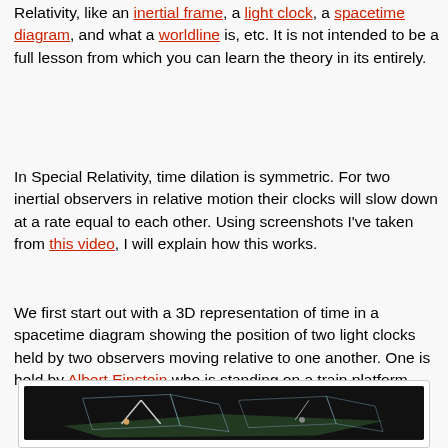Relativity, like an inertial frame, a light clock, a spacetime diagram, and what a worldline is, etc. It is not intended to be a full lesson from which you can learn the theory in its entirely.
In Special Relativity, time dilation is symmetric. For two inertial observers in relative motion their clocks will slow down at a rate equal to each other. Using screenshots I've taken from this video, I will explain how this works.
We first start out with a 3D representation of time in a spacetime diagram showing the position of two light clocks held by two observers moving relative to one another. One is held by Albert Einstein who is standing on a train platform, and the other is held by Hendrik Lorentz who is standing on a train moving relative to Einstein.
[Figure (screenshot): 3D spacetime diagram video screenshot showing two light clocks on a dark background with glass-like transparent box structures, representing two observers in relative motion.]